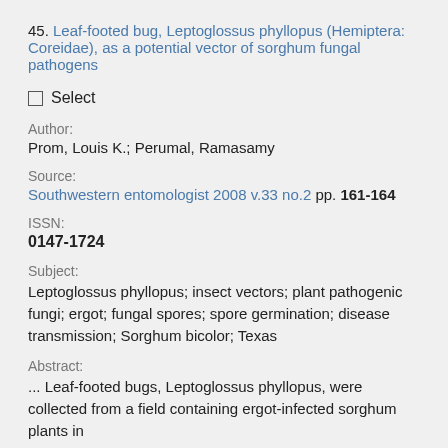45. Leaf-footed bug, Leptoglossus phyllopus (Hemiptera: Coreidae), as a potential vector of sorghum fungal pathogens
Select
Author:
Prom, Louis K.; Perumal, Ramasamy
Source:
Southwestern entomologist 2008 v.33 no.2 pp. 161-164
ISSN:
0147-1724
Subject:
Leptoglossus phyllopus; insect vectors; plant pathogenic fungi; ergot; fungal spores; spore germination; disease transmission; Sorghum bicolor; Texas
Abstract:
... Leaf-footed bugs, Leptoglossus phyllopus, were collected from a field containing ergot-infected sorghum plants in